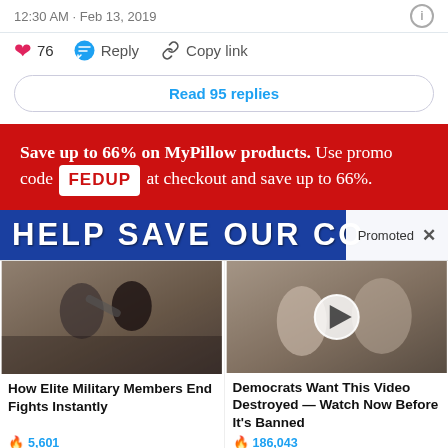12:30 AM · Feb 13, 2019
76  Reply  Copy link
Read 95 replies
[Figure (infographic): Red advertisement banner: Save up to 66% on MyPillow products. Use promo code FEDUP at checkout and save up to 66%.]
[Figure (infographic): Blue banner with white bold text: HELP SAVE OUR CO[UNTRY], with a 'Promoted X' badge in the top-right corner.]
[Figure (photo): Two men appearing to fight, one grabbing the other near a stone wall.]
How Elite Military Members End Fights Instantly
🔥 5,601
[Figure (photo): Melania and Donald Trump at a public event; video play button overlay.]
Democrats Want This Video Destroyed — Watch Now Before It's Banned
🔥 186,043